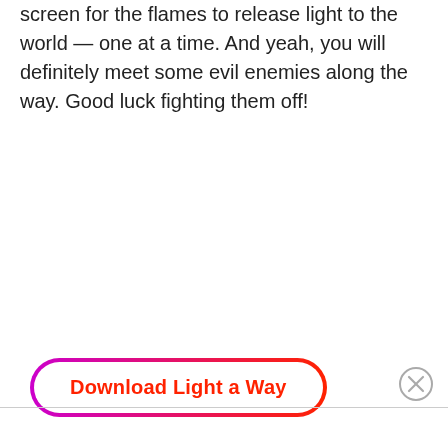screen for the flames to release light to the world — one at a time. And yeah, you will definitely meet some evil enemies along the way. Good luck fighting them off!
[Figure (other): A pill-shaped button with gradient border (magenta to red) containing bold red text 'Download Light a Way']
[Figure (other): A circular close/dismiss button with an X symbol in gray outline style, positioned at bottom right]